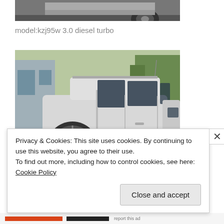[Figure (photo): Top portion of a vehicle photo, showing the lower part of a car (wheel area visible), cropped at top.]
model:kzj95w 3.0 diesel turbo
[Figure (photo): Photo of a silver/white Toyota Land Cruiser Prado SUV (KZJ95W), rear three-quarter view, parked in a driveway near a house, showing spare tire on rear door, alloy wheels.]
Privacy & Cookies: This site uses cookies. By continuing to use this website, you agree to their use.
To find out more, including how to control cookies, see here: Cookie Policy
Close and accept